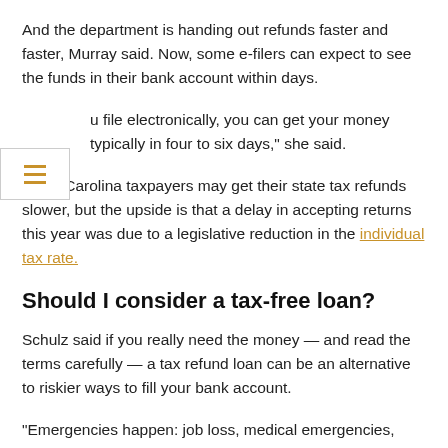And the department is handing out refunds faster and faster, Murray said. Now, some e-filers can expect to see the funds in their bank account within days.
"If you file electronically, you can get your money typically in four to six days," she said.
North Carolina taxpayers may get their state tax refunds slower, but the upside is that a delay in accepting returns this year was due to a legislative reduction in the individual tax rate.
Should I consider a tax-free loan?
Schulz said if you really need the money — and read the terms carefully — a tax refund loan can be an alternative to riskier ways to fill your bank account.
"Emergencies happen: job loss, medical emergencies, whatever the